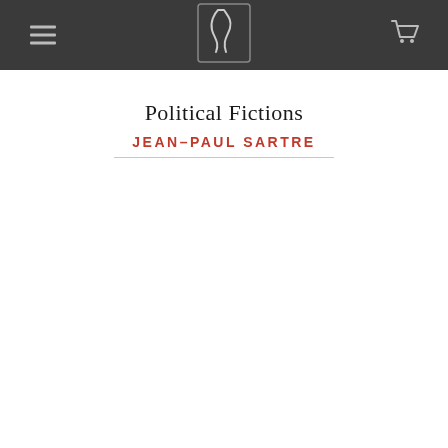Political Fictions
JEAN–PAUL SARTRE